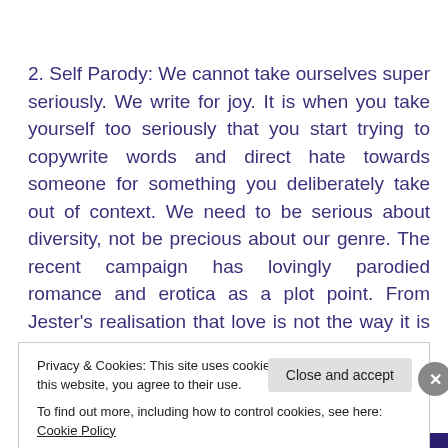2. Self Parody: We cannot take ourselves super seriously. We write for joy. It is when you take yourself too seriously that you start trying to copywrite words and direct hate towards someone for something you deliberately take out of context. We need to be serious about diversity, not be precious about our genre. The recent campaign has lovingly parodied romance and erotica as a plot point. From Jester's realisation that love is not the way it is in
Privacy & Cookies: This site uses cookies. By continuing to use this website, you agree to their use.
To find out more, including how to control cookies, see here: Cookie Policy
Close and accept
Advertisements